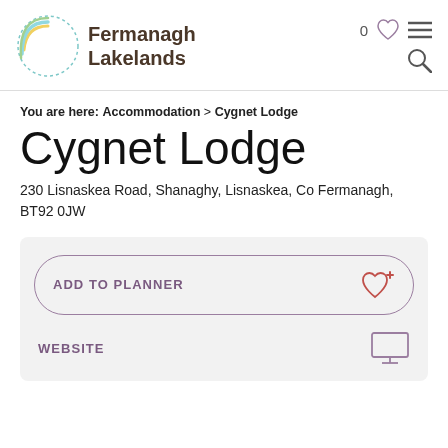[Figure (logo): Fermanagh Lakelands logo with rainbow arc and dashed circle]
You are here: Accommodation > Cygnet Lodge
Cygnet Lodge
230 Lisnaskea Road, Shanaghy, Lisnaskea, Co Fermanagh, BT92 0JW
ADD TO PLANNER
WEBSITE